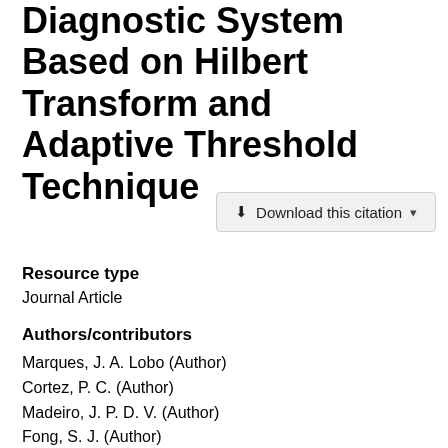Diagnostic System Based on Hilbert Transform and Adaptive Threshold Technique
[Figure (other): Download this citation button with dropdown arrow]
Resource type
Journal Article
Authors/contributors
Marques, J. A. Lobo (Author)
Cortez, P. C. (Author)
Madeiro, J. P. D. V. (Author)
Fong, S. J. (Author)
Schlindwein, F. S. (Author)
Albuquerque, V. H. C. D. (Author)